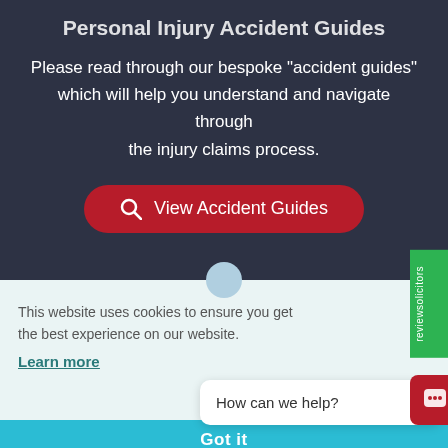Personal Injury Accident Guides
Please read through our bespoke "accident guides" which will help you understand and navigate through the injury claims process.
View Accident Guides
This website uses cookies to ensure you get the best experience on our website.
Learn more
How can we help?
Got it
reviewsolicitors